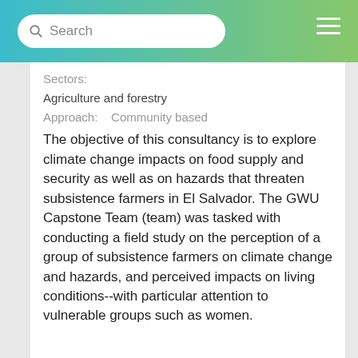Search
Sectors:
Agriculture and forestry
Approach:   Community based
The objective of this consultancy is to explore climate change impacts on food supply and security as well as on hazards that threaten subsistence farmers in El Salvador. The GWU Capstone Team (team) was tasked with conducting a field study on the perception of a group of subsistence farmers on climate change and hazards, and perceived impacts on living conditions--with particular attention to vulnerable groups such as women.